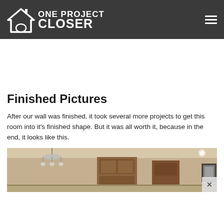One Project Closer
Finished Pictures
After our wall was finished, it took several more projects to get this room into it's finished shape. But it was all worth it, because in the end, it looks like this.
[Figure (photo): Interior room photo showing a dining/living area with a chandelier, wooden cabinet/hutch, framed artwork on the wall, and recessed lighting. Room has beige/tan walls.]